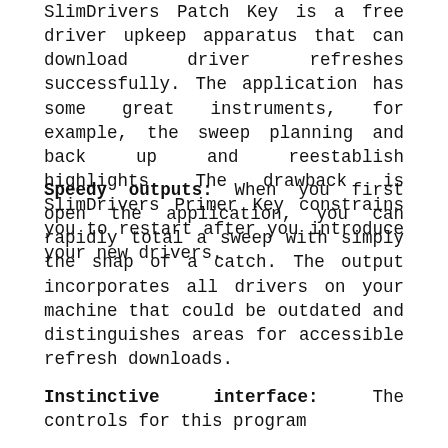SlimDrivers Patch Key is a free driver upkeep apparatus that can download driver refreshes successfully. The application has some great instruments, for example, the sweep planning and back up and reestablish highlights. The drawback is SlimDrivers Primer Key constrains you to restart after you introduce your new drivers.
Speedy outputs: When you first open the application, you can rapidly total a sweep with simply the snap of a catch. The output incorporates all drivers on your machine that could be outdated and distinguishes areas for accessible refresh downloads.
Instinctive interface: The controls for this program are clear with no extraordinary fare destinations...